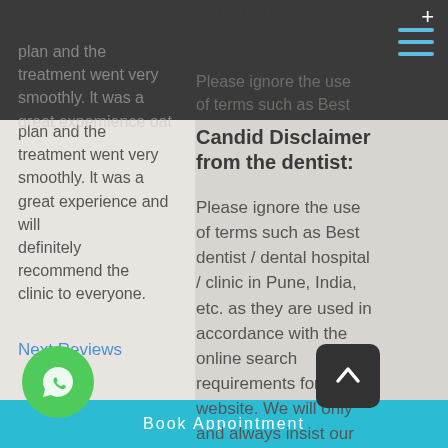[Figure (logo): SmileKraft Dentistry logo in white uppercase text on dark background]
plan and the treatment went very smoothly. It was a great experience and will definitely recommend the clinic to everyone.
Next Reviews
Candid Disclaimer from the dentist:
Please ignore the use of terms such as Best dentist / dental hospital / clinic in Pune, India, etc. as they are used in accordance with the online search requirements for the website. We will only and always insist our patients and everyone else to judge us based on our work and the results we deliver. The blatant use of such terms a number of times is embarrassing,
Book Appointment